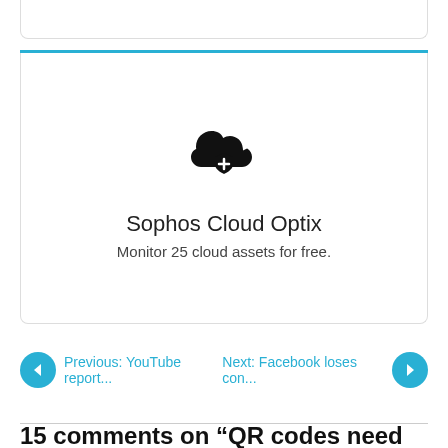[Figure (logo): Sophos Cloud Optix icon — cloud shape with a shield and plus sign in the center, black on white background]
Sophos Cloud Optix
Monitor 25 cloud assets for free.
Previous: YouTube report...
Next: Facebook loses con...
15 comments on “QR codes need security r…